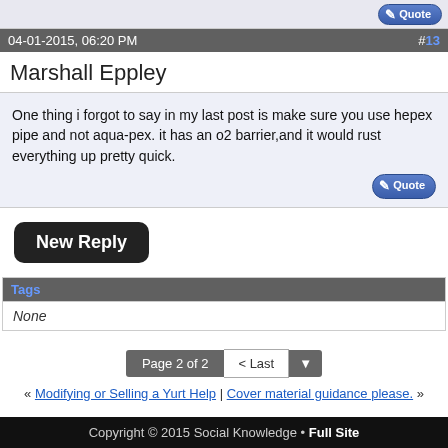[Figure (other): Quote button at top right of post header area]
04-01-2015, 06:20 PM  #13
Marshall Eppley
One thing i forgot to say in my last post is make sure you use hepex pipe and not aqua-pex. it has an o2 barrier,and it would rust everything up pretty quick.
[Figure (other): Quote button at bottom right of post body]
New Reply
Tags
None
Page 2 of 2  < Last
« Modifying or Selling a Yurt Help | Cover material guidance please. »
Copyright 2012 - 2017 Jeff Capron Inc.
Copyright © 2015 Social Knowledge • Full Site